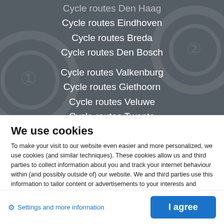Cycle routes Den Haag
Cycle routes Eindhoven
Cycle routes Breda
Cycle routes Den Bosch
Cycle routes Valkenburg
Cycle routes Giethoorn
Cycle routes Veluwe
Cycle routes Twente
Cycle routes Achterhoek
We use cookies
To make your visit to our website even easier and more personalized, we use cookies (and similar techniques). These cookies allow us and third parties to collect information about you and track your internet behaviour within (and possibly outside of) our website. We and third parties use this information to tailor content or advertisements to your interests and profile. Cookies also make it possible to share information via social media. Read more about our cookies ›
Settings and more information
I agree